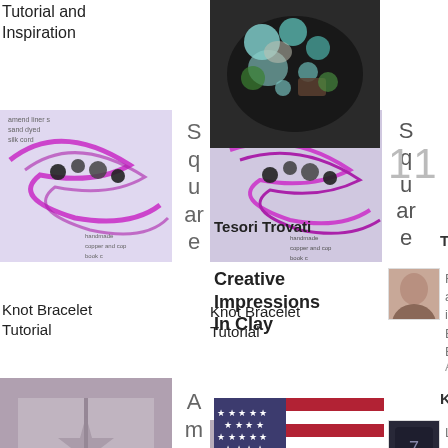Tutorial and Inspiration
[Figure (photo): Craft supplies - beads and jewelry materials photo]
[Figure (photo): Square knot bracelet tutorial cover - beads and cord photo]
S
q
u
ar
e
Knot Bracelet Tutorial
[Figure (photo): Gift wrapped package with ribbon photo]
A
m
u
s
e
the Muse - Jewellery Packaging and Bead Storage with Rebecca of Songbead
[Figure (photo): Jewelry item on cork board photo]
I
H
e
Tesori Trovati
Creative Impressions In Clay
[Figure (photo): American flag photo]
Labels
art beads
Beadmaker Interview
Best of the ABS
11 com
Tesc
[Figure (photo): Person portrait photo]
Funn and t inspi Enjo Erin
Augu
Kati
[Figure (photo): Small jewelry item photo]
Love of th :o) (i
Augu